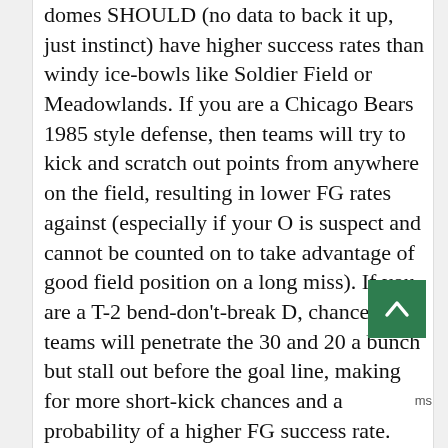domes SHOULD (no data to back it up, just instinct) have higher success rates than windy ice-bowls like Soldier Field or Meadowlands. If you are a Chicago Bears 1985 style defense, then teams will try to kick and scratch out points from anywhere on the field, resulting in lower FG rates against (especially if your O is suspect and cannot be counted on to take advantage of good field position on a long miss). If you are a T-2 bend-don't-break D, chances are teams will penetrate the 30 and 20 a bunch but stall out before the goal line, making for more short-kick chances and a probability of a higher FG success rate.
5) Agreed, unless injuries are a factor. If a Player X seemed fine up to age 33, then had a major injury at age 34, I'd feel pretty confident predicting a demise at 35.